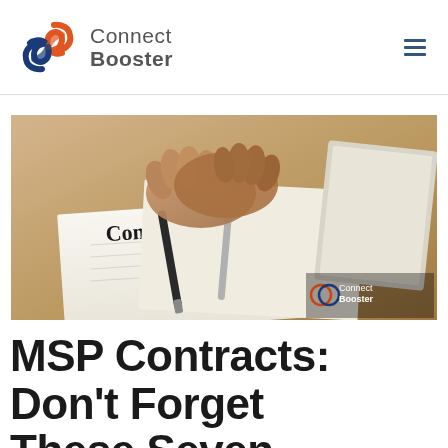ConnectBooster
[Figure (photo): Photo of a contract document on a desk with hands clasped above it and a pen. The word 'Contract' is visible on the document. ConnectBooster logo watermark in bottom right corner.]
MSP Contracts: Don't Forget These Seven